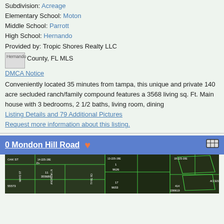Subdivision: Acreage
Elementary School: Moton
Middle School: Parrott
High School: Hernando
Provided by: Tropic Shores Realty LLC
[Figure (other): Broken image placeholder labeled Hernando followed by text 'County, FL MLS']
DMCA Notice
Conveniently located 35 minutes from tampa, this unique and private 140 acre secluded ranch/family compound features a 3568 living sq. Ft. Main house with 3 bedrooms, 2 1/2 baths, living room, dining
Listing Details and 79 Additional Pictures
Request more information about this listing.
0 Mondon Hill Road
[Figure (map): Aerial/satellite map showing parcels with green boundaries, labeled with parcel numbers including 355680, 9626, 9653, 1599619. Streets visible: Oak St, Mayo St, Andrew Ln, Tyre Rd. Grid references: 14-22S-19E, 13-22S-19E, 18-22S-20E.]